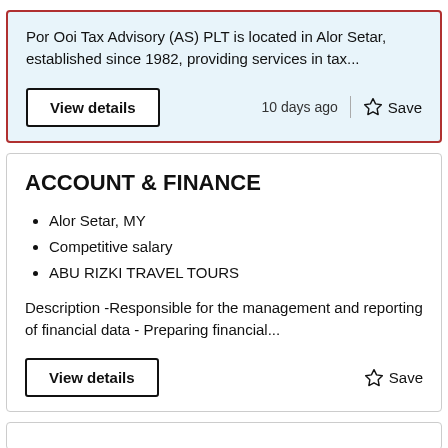Por Ooi Tax Advisory (AS) PLT is located in Alor Setar, established since 1982, providing services in tax...
View details
10 days ago
Save
ACCOUNT & FINANCE
Alor Setar, MY
Competitive salary
ABU RIZKI TRAVEL TOURS
Description -Responsible for the management and reporting of financial data - Preparing financial...
View details
Save